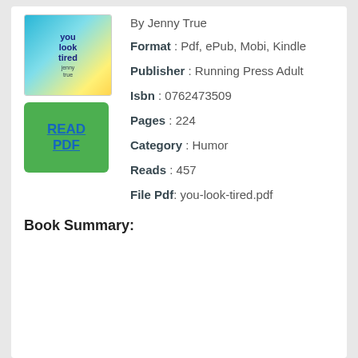[Figure (illustration): Book cover for 'You Look Tired' by Jenny True, showing colorful illustration with text on a teal/yellow background]
By Jenny True
[Figure (other): Green button labeled READ PDF with blue underlined text]
Format : Pdf, ePub, Mobi, Kindle
Publisher : Running Press Adult
Isbn : 0762473509
Pages : 224
Category : Humor
Reads : 457
File Pdf: you-look-tired.pdf
Book Summary: